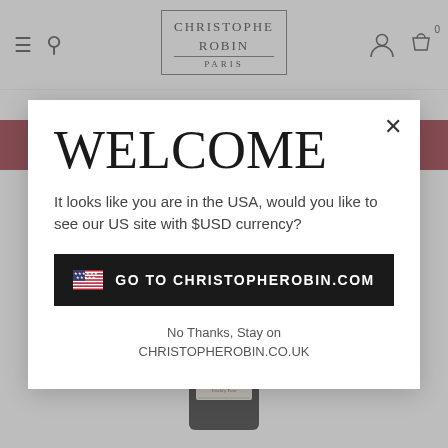[Figure (screenshot): Christophe Robin Paris e-commerce website header with hamburger menu, search icon, logo, user icon, and cart icon with 0 items]
Free Standard Delivery when you spend £40
WELCOME
It looks like you are in the USA, would you like to see our US site with $USD currency?
🇺🇸  GO TO CHRISTOPHEROBIN.COM
No Thanks, Stay on CHRISTOPHEROBIN.CO.UK